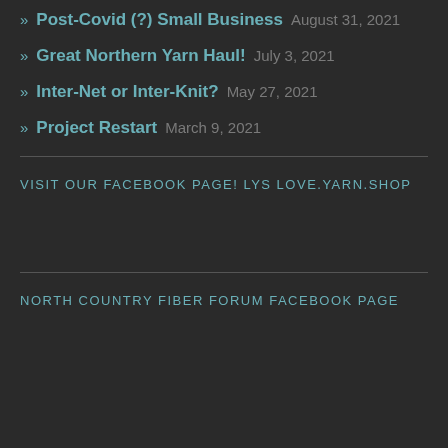» Post-Covid (?) Small Business  August 31, 2021
» Great Northern Yarn Haul!  July 3, 2021
» Inter-Net or Inter-Knit?  May 27, 2021
» Project Restart  March 9, 2021
VISIT OUR FACEBOOK PAGE! LYS LOVE.YARN.SHOP
NORTH COUNTRY FIBER FORUM FACEBOOK PAGE